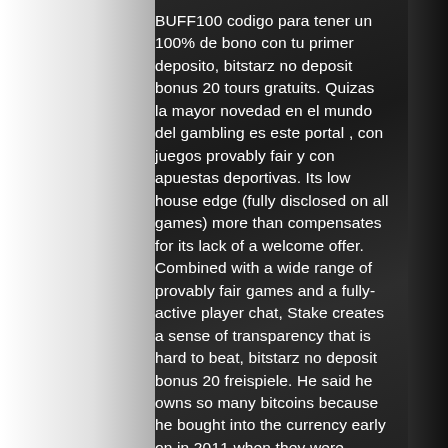BUFF100 codigo para tener un 100% de bono con tu primer deposito, bitstarz no deposit bonus 20 tours gratuits. Quizas la mayor novedad en el mundo del gambling es este portal , con juegos provably fair y con apuestas deportivas. Its low house edge (fully disclosed on all games) more than compensates for its lack of a welcome offer. Combined with a wide range of provably fair games and a fully-active player chat, Stake creates a sense of transparency that is hard to beat, bitstarz no deposit bonus 20 freispiele. He said he owns so many bitcoins because he bought into the currency early on in 2011 when they were cheap buys. Nakowa's Just-Dice story begins earlier this year, bitstarz no deposit bonus 20 gratissnurr. TrustDice generates random numbers using a two-seed process that allows users to choose their own client seed, making it impossible for the roll outcome to